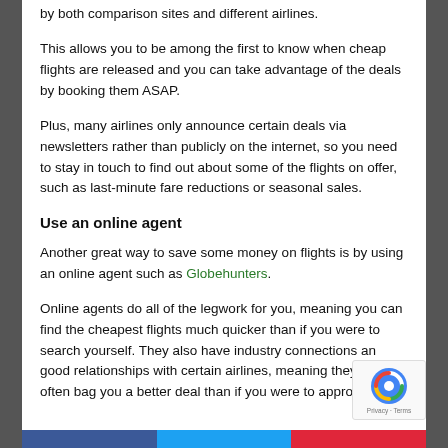by both comparison sites and different airlines.
This allows you to be among the first to know when cheap flights are released and you can take advantage of the deals by booking them ASAP.
Plus, many airlines only announce certain deals via newsletters rather than publicly on the internet, so you need to stay in touch to find out about some of the flights on offer, such as last-minute fare reductions or seasonal sales.
Use an online agent
Another great way to save some money on flights is by using an online agent such as Globehunters.
Online agents do all of the legwork for you, meaning you can find the cheapest flights much quicker than if you were to search yourself. They also have industry connections and good relationships with certain airlines, meaning they can often bag you a better deal than if you were to approach an...